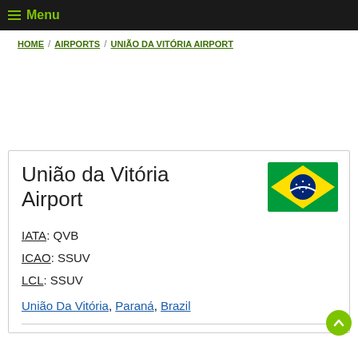≡ Menu
HOME / AIRPORTS / UNIÃO DA VITÓRIA AIRPORT
União da Vitória Airport
[Figure (illustration): Brazilian flag - green background with yellow diamond and blue globe]
IATA: QVB
ICAO: SSUV
LCL: SSUV
União Da Vitória, Paraná, Brazil